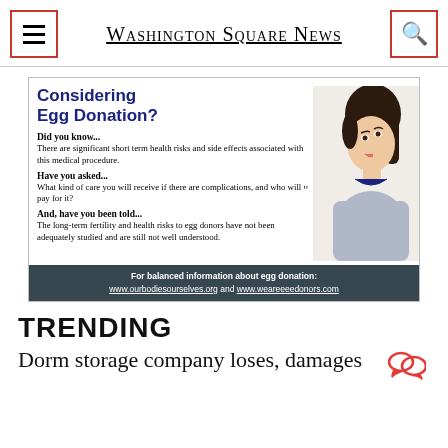Washington Square News
[Figure (infographic): Advertisement for egg donation awareness. Title: 'Considering Egg Donation?' with informational text about health risks and a photo of a young woman thinking. Footer includes links to ourbodiesourselves.org and weaeeeedonors.com]
TRENDING
Dorm storage company loses, damages